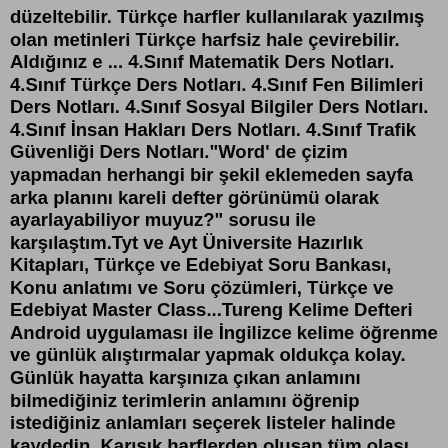düzeltebilir. Türkçe harfler kullanılarak yazılmış olan metinleri Türkçe harfsiz hale çevirebilir. Aldığınız e ... 4.Sınıf Matematik Ders Notları. 4.Sınıf Türkçe Ders Notları. 4.Sınıf Fen Bilimleri Ders Notları. 4.Sınıf Sosyal Bilgiler Ders Notları. 4.Sınıf İnsan Hakları Ders Notları. 4.Sınıf Trafik Güvenliği Ders Notları."Word' de çizim yapmadan herhangi bir şekil eklemeden sayfa arka planını kareli defter görünümü olarak ayarlayabiliyor muyuz?" sorusu ile karşılaştım.Tyt ve Ayt Üniversite Hazırlık Kitapları, Türkçe ve Edebiyat Soru Bankası, Konu anlatımı ve Soru çözümleri, Türkçe ve Edebiyat Master Class...Tureng Kelime Defteri Android uygulaması ile İngilizce kelime öğrenme ve günlük alıştırmalar yapmak oldukça kolay. Günlük hayatta karşınıza çıkan anlamını bilmediğiniz terimlerin anlamını öğrenip istediğiniz anlamları seçerek listeler halinde kaydedin. Karışık harflerden oluşan tüm olası kelimeleri bulan benzersiz bir kelime arama aracıdır. Kelime bulucu hızlı ve esnek yapısı ile kelime bulma konusunda avantaj sizde. Kelime Bulucu ©